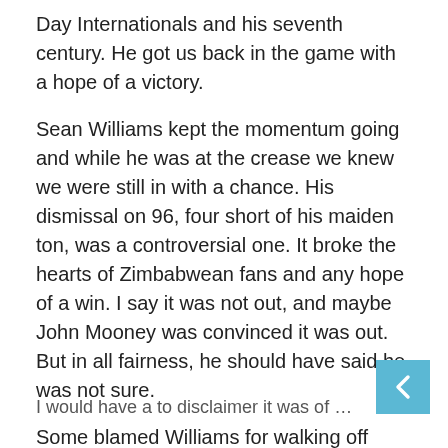Day Internationals and his seventh century. He got us back in the game with a hope of a victory.
Sean Williams kept the momentum going and while he was at the crease we knew we were still in with a chance. His dismissal on 96, four short of his maiden ton, was a controversial one. It broke the hearts of Zimbabwean fans and any hope of a win. I say it was not out, and maybe John Mooney was convinced it was out. But in all fairness, he should have said he was not sure.
Some blamed Williams for walking off without hearing the verdict from the umpire – he should have used a review.
Taylor also said after the game, “I thought it was pretty clear (Mooney’s foot touched the rope).”
I would have a to disclaimer it was of Williams to all